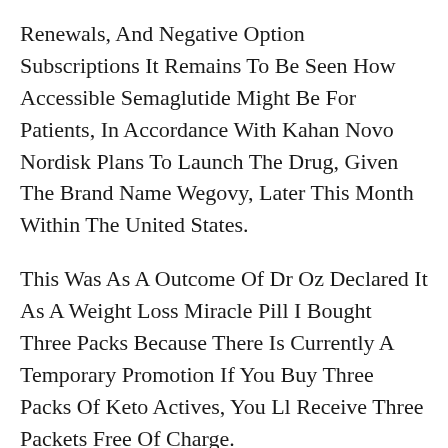Renewals, And Negative Option Subscriptions It Remains To Be Seen How Accessible Semaglutide Might Be For Patients, In Accordance With Kahan Novo Nordisk Plans To Launch The Drug, Given The Brand Name Wegovy, Later This Month Within The United States.
This Was As A Outcome Of Dr Oz Declared It As A Weight Loss Miracle Pill I Bought Three Packs Because There Is Currently A Temporary Promotion If You Buy Three Packs Of Keto Actives, You Ll Receive Three Packets Free Of Charge.
Many Of My Shoppers Have Efficiently Used Fast Burn Extreme Drugs To Lose A Lot Of Weight Scientific Studies Present That Fast Burn Extreme Can Certainly Help With Weight Reduction My Before And Afterfor Me Personally, 35 Kg In 5 Months Was A Bit Too How Much Saturated Fat